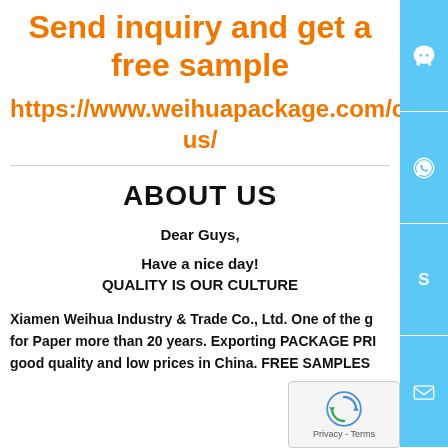Send inquiry and get a free sample
https://www.weihuapackage.com/contact-us/
ABOUT US
Dear Guys,
Have a nice day!
QUALITY IS OUR CULTURE
Xiamen Weihua Industry & Trade Co., Ltd. One of the g... for Paper more than 20 years. Exporting PACKAGE PRI... good quality and low prices in China. FREE SAMPLES...